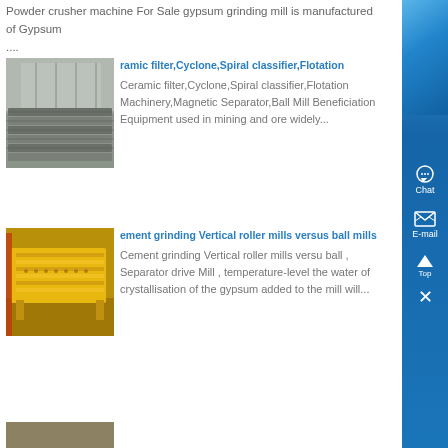Powder crusher machine For Sale gypsum grinding mill is manufactured of Gypsum ....
[Figure (photo): Industrial equipment - metal channel or grid components stacked in a warehouse]
ramic filter,Cyclone,Spiral classifier,Flotation
Ceramic filter,Cyclone,Spiral classifier,Flotation Machinery,Magnetic Separator,Ball Mill Beneficiation Equipment used in mining and ore widely...
[Figure (photo): Yellow industrial vibrating screen or feeder equipment on a workshop floor]
ement grinding Vertical roller mills versus ball mills
Cement grinding Vertical roller mills versus ball , Separator drive Mill , temperature-level the water of crystallisation of the gypsum added to the mill will...
[Figure (photo): Partially visible industrial equipment at page bottom]